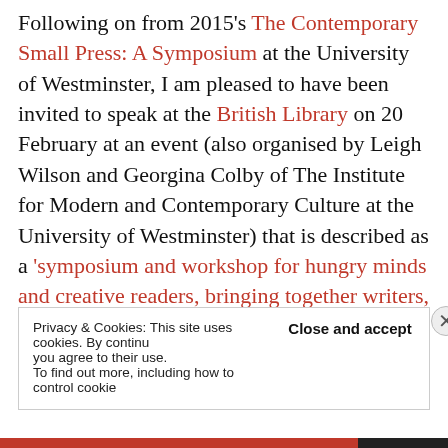Following on from 2015's The Contemporary Small Press: A Symposium at the University of Westminster, I am pleased to have been invited to speak at the British Library on 20 February at an event (also organised by Leigh Wilson and Georgina Colby of The Institute for Modern and Contemporary Culture at the University of Westminster) that is described as a ‘symposium and workshop for hungry minds and creative readers, bringing together writers, readers and publishers from independent presses in the UK.’
Privacy & Cookies: This site uses cookies. By continuing to use this website, you agree to their use. To find out more, including how to control cookies, see here: Close and accept